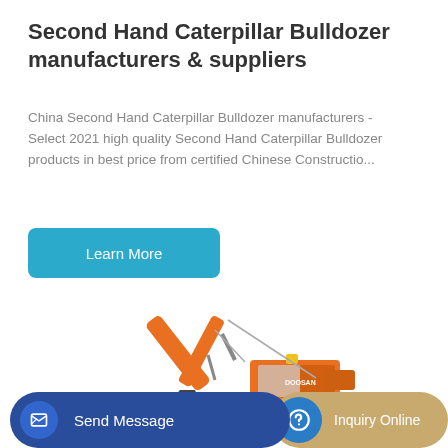Second Hand Caterpillar Bulldozer manufacturers & suppliers
China Second Hand Caterpillar Bulldozer manufacturers - Select 2021 high quality Second Hand Caterpillar Bulldozer products in best price from certified Chinese Constructio...
[Figure (illustration): Orange Doosan excavator construction machine on white background]
Learn More
Send Message
Inquiry Online